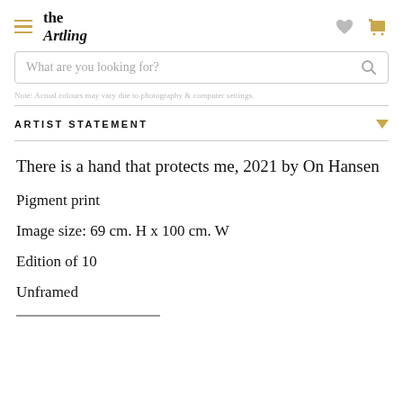the Artling
What are you looking for?
Note: Actual colours may vary due to photography & computer settings.
ARTIST STATEMENT
There is a hand that protects me, 2021 by On Hansen
Pigment print
Image size: 69 cm. H x 100 cm. W
Edition of 10
Unframed